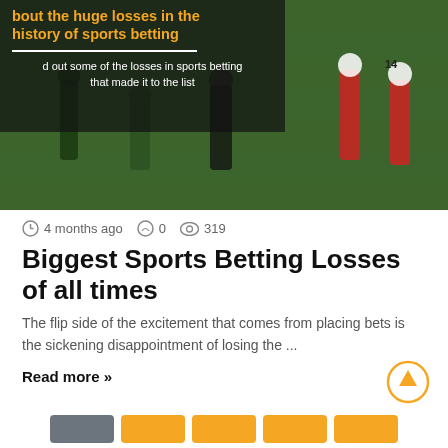[Figure (photo): Soccer players on a green field with a semi-transparent dark overlay on the top-left showing text about biggest sports betting losses in history]
4 months ago   0   319
Biggest Sports Betting Losses of all times
The flip side of the excitement that comes from placing bets is the sickening disappointment of losing the ...
Read more »